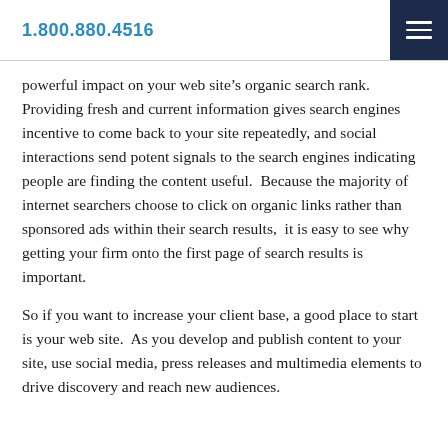1.800.880.4516
powerful impact on your web site's organic search rank.   Providing fresh and current information gives search engines incentive to come back to your site repeatedly, and social interactions send potent signals to the search engines indicating people are finding the content useful.  Because the majority of internet searchers choose to click on organic links rather than sponsored ads within their search results,  it is easy to see why getting your firm onto the first page of search results is important.
So if you want to increase your client base, a good place to start is your web site.  As you develop and publish content to your site, use social media, press releases and multimedia elements to drive discovery and reach new audiences.